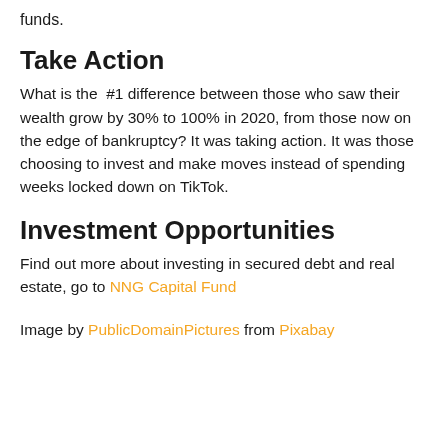funds.
Take Action
What is the #1 difference between those who saw their wealth grow by 30% to 100% in 2020, from those now on the edge of bankruptcy? It was taking action. It was those choosing to invest and make moves instead of spending weeks locked down on TikTok.
Investment Opportunities
Find out more about investing in secured debt and real estate, go to NNG Capital Fund
Image by PublicDomainPictures from Pixabay